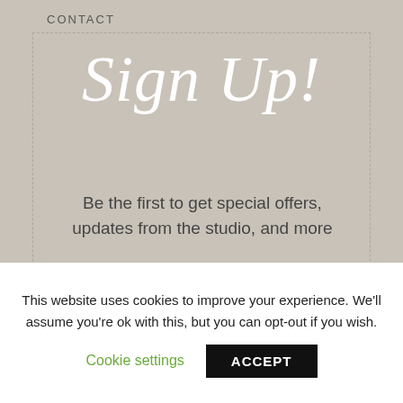CONTACT
Sign Up!
Be the first to get special offers, updates from the studio, and more
email address
subscribe
a Practical
This website uses cookies to improve your experience. We'll assume you're ok with this, but you can opt-out if you wish.
Cookie settings
ACCEPT